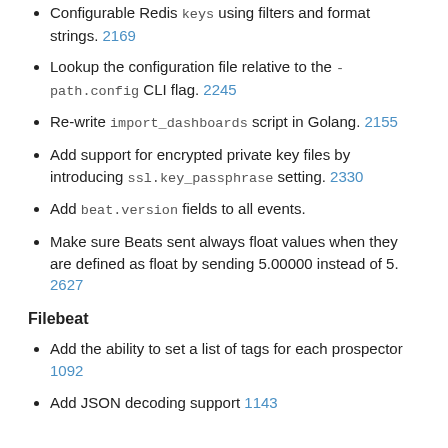Configurable Redis keys using filters and format strings. 2169
Lookup the configuration file relative to the -path.config CLI flag. 2245
Re-write import_dashboards script in Golang. 2155
Add support for encrypted private key files by introducing ssl.key_passphrase setting. 2330
Add beat.version fields to all events.
Make sure Beats sent always float values when they are defined as float by sending 5.00000 instead of 5. 2627
Filebeat
Add the ability to set a list of tags for each prospector 1092
Add JSON decoding support 1143